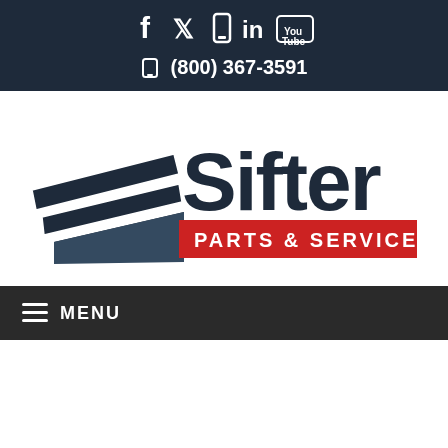[Figure (logo): Social media icons row: Facebook, Twitter, phone/mobile, LinkedIn, YouTube on dark navy background]
☎ (800) 367-3591
[Figure (logo): Sifter Parts & Service logo with stacked layers graphic icon in navy blue and red banner]
≡ MENU